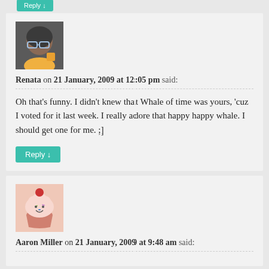[Figure (photo): Avatar thumbnail of Renata, a young woman with glasses]
Renata on 21 January, 2009 at 12:05 pm said:
Oh that’s funny. I didn’t knew that Whale of time was yours, ‘cuz I voted for it last week. I really adore that happy happy whale. I should get one for me. ;]
[Figure (photo): Avatar thumbnail of Aaron Miller, a cartoon cupcake illustration]
Aaron Miller on 21 January, 2009 at 9:48 am said: